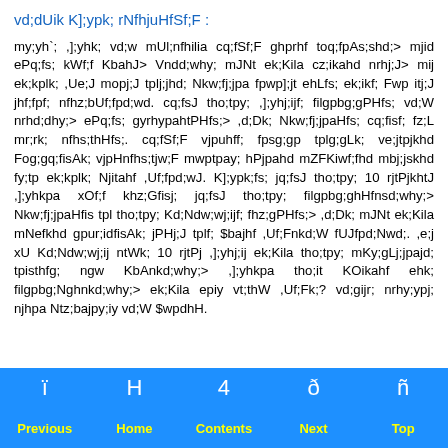vd;dUik K];ypk; rNfhjuHfSf;F :
my;yh`; ,];yhk; vd;w mUl;nfhilia cq;fSf;F ghprhf toq;fpAs;shd;> mjid ePq;fs; kWf;f KbahJ> Vndd;why; mJNt ek;Kila cz;ikahd nrhj;J> mij ek;kplk; ,Ue;J mopj;J tplj;jhd; Nkw;fj;jpa fpwp];jt ehLfs; ek;ikf; Fwp itj;J jhf;fpf; nfhz;bUf;fpd;wd. cq;fsJ tho;tpy; ,];yhj;ijf; filgpbg;gPHfs; vd;W nrhd;dhy;> ePq;fs; gyrhypahtPHfs;> ,d;Dk; Nkw;fj;jpaHfs; cq;fisf; fz;L mr;rk; nfhs;thHfs;. cq;fSf;F vjpuhff; fpsg;gp tplg;gLk; ve;jtpjkhd Fog;gq;fisAk; vjpHnfhs;tjw;F mwptpay; hPjpahd mZFKiwf;fhd mbj;jskhd fy;tp ek;kplk; Njitahf ,Uf;fpd;wJ. K];ypk;fs; jq;fsJ tho;tpy; 10 rjtPjkhtJ ,];yhkpa xOf;f khz;Gfisj; jq;fsJ tho;tpy; filgpbg;ghHfnsd;why;> Nkw;fj;jpaHfis tpl tho;tpy; Kd;Ndw;wj;ijf; fhz;gPHfs;> ,d;Dk; mJNt ek;Kila mNefkhd gpur;idfisAk; jPHj;J tplf; $bajhf ,Uf;Fnkd;W fUJfpd;Nwd;. ,e;j xU Kd;Ndw;wj;ij ntWk; 10 rjtPj ,];yhj;ij ek;Kila tho;tpy; mKy;gLj;jpajd; tpisthfg; ngw KbAnkd;why;> ,];yhkpa tho;it KOikahf ehk; filgpbg;Nghnkd;why;> ek;Kila epiy vt;thW ,Uf;Fk;? vd;gijr; nrhy;ypj; njhpa Ntz;bajpy;iy vd;W $wpdhH.
ï Previous   H Home   4 Contents   ð Next   ñ Top